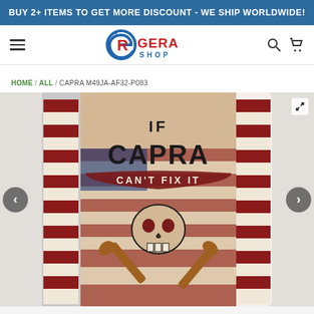BUY 2+ ITEMS TO GET MORE DISCOUNT - WE SHIP WORLDWIDE!
[Figure (logo): Gera Shop logo with stylized GR initials and red GERA SHOP text]
HOME / ALL / CAPRA M49JA-AF32-P083
[Figure (photo): Product photo of a flag tapestry with text 'IF CAPRA CAN'T FIX IT' with skull and crossed wrenches on American flag background]